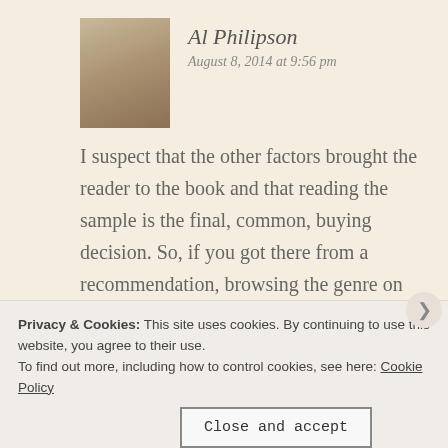Al Philipson
August 8, 2014 at 9:56 pm
[Figure (photo): Avatar photo of Al Philipson wearing a white hat, seated outdoors]
I suspect that the other factors brought the reader to the book and that reading the sample is the final, common, buying decision. So, if you got there from a recommendation, browsing the genre on Amazon and being attracted by the cover, blurb, and maybe the reviews, or whatever, most people will have “reading the sample” as their common
Privacy & Cookies: This site uses cookies. By continuing to use this website, you agree to their use.
To find out more, including how to control cookies, see here: Cookie Policy
Close and accept